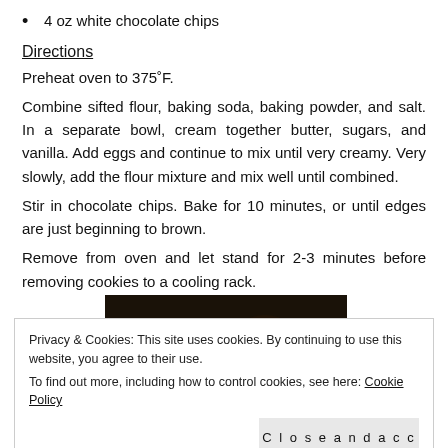4 oz white chocolate chips
Directions
Preheat oven to 375°F.
Combine sifted flour, baking soda, baking powder, and salt. In a separate bowl, cream together butter, sugars, and vanilla. Add eggs and continue to mix until very creamy. Very slowly, add the flour mixture and mix well until combined.
Stir in chocolate chips. Bake for 10 minutes, or until edges are just beginning to brown.
Remove from oven and let stand for 2-3 minutes before removing cookies to a cooling rack.
[Figure (photo): Dark photo of cookies on a baking surface]
Privacy & Cookies: This site uses cookies. By continuing to use this website, you agree to their use.
To find out more, including how to control cookies, see here: Cookie Policy
Close and accept